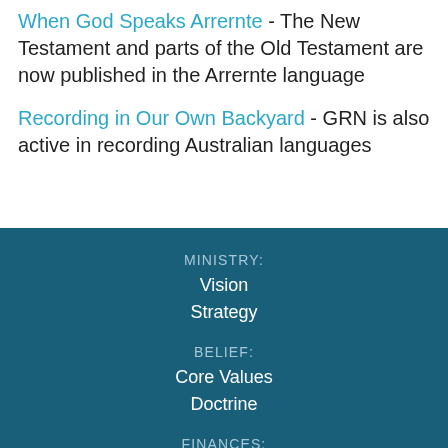When God Speaks Arrernte - The New Testament and parts of the Old Testament are now published in the Arrernte language
Recording in Our Own Backyard - GRN is also active in recording Australian languages
MINISTRY:
Vision
Strategy
BELIEF:
Core Values
Doctrine
FINANCES:
Policy
Donations